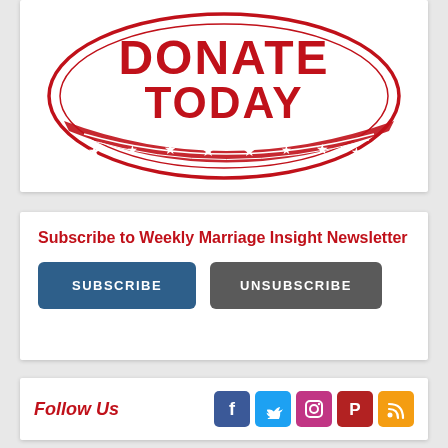[Figure (logo): Red 'DONATE TODAY' stamp logo with oval shape, stars, and decorative border]
Subscribe to Weekly Marriage Insight Newsletter
SUBSCRIBE | UNSUBSCRIBE buttons
Follow Us
[Figure (infographic): Social media icons: Facebook, Twitter, Instagram, Parler, RSS]